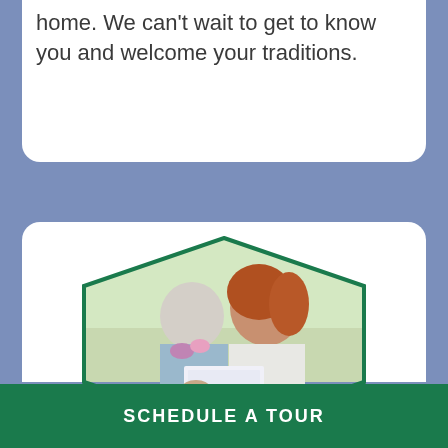home. We can't wait to get to know you and welcome your traditions.
[Figure (photo): A young woman with curly red hair and an elderly woman with white hair looking together at a document or tablet. They are seated near a window with a garden visible outside. The image is framed in a hexagonal shape with a green border.]
SCHEDULE A TOUR